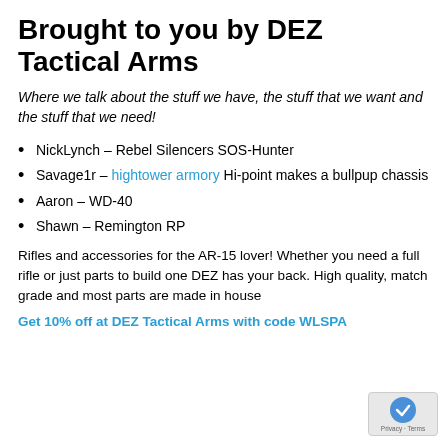Brought to you by DEZ Tactical Arms
Where we talk about the stuff we have, the stuff that we want and the stuff that we need!
NickLynch – Rebel Silencers SOS-Hunter
Savage1r – hightower armory Hi-point makes a bullpup chassis
Aaron – WD-40
Shawn – Remington RP
Rifles and accessories for the AR-15 lover! Whether you need a full rifle or just parts to build one DEZ has your back. High quality, match grade and most parts are made in house
Get 10% off at DEZ Tactical Arms with code WLSPA...